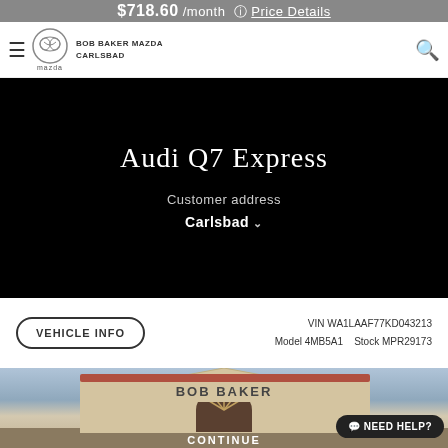$718.60 /month  Price Details
[Figure (logo): Mazda logo circle with nav bar showing BOB BAKER MAZDA CARLSBAD and hamburger menu]
Audi Q7 Express
Customer address
Carlsbad
VEHICLE INFO   VIN WA1LAAF77KD043213   Model 4MB5A1   Stock MPR29173
[Figure (photo): Photo of Bob Baker dealership building exterior with NEED HELP? button overlay and CONTINUE button at bottom]